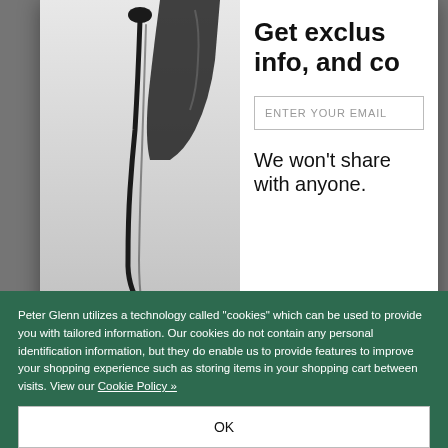[Figure (screenshot): A popup/modal overlay on a webpage showing a newsletter signup form. Left side has a black and white photo of oil or liquid being poured. Right side shows text 'Get exclu...' and 'info, and co...' (truncated), an email input field, and privacy text 'We won't share with anyone.']
ENTER YOUR EMAIL
We won't share with anyone.
Peter Glenn utilizes a technology called "cookies" which can be used to provide you with tailored information. Our cookies do not contain any personal identification information, but they do enable us to provide features to improve your shopping experience such as storing items in your shopping cart between visits. View our Cookie Policy »
OK